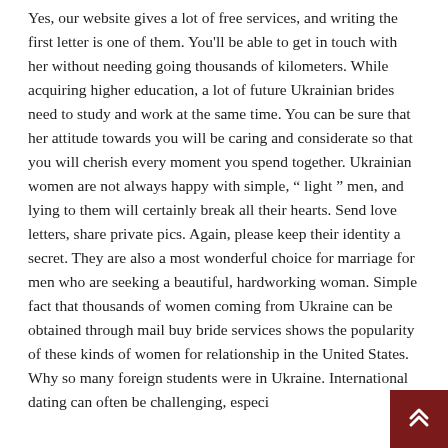Yes, our website gives a lot of free services, and writing the first letter is one of them. You'll be able to get in touch with her without needing going thousands of kilometers. While acquiring higher education, a lot of future Ukrainian brides need to study and work at the same time. You can be sure that her attitude towards you will be caring and considerate so that you will cherish every moment you spend together. Ukrainian women are not always happy with simple, “ light ” men, and lying to them will certainly break all their hearts. Send love letters, share private pics. Again, please keep their identity a secret. They are also a most wonderful choice for marriage for men who are seeking a beautiful, hardworking woman. Simple fact that thousands of women coming from Ukraine can be obtained through mail buy bride services shows the popularity of these kinds of women for relationship in the United States. Why so many foreign students were in Ukraine. International dating can often be challenging, especi